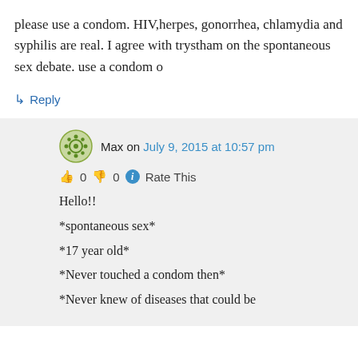please use a condom. HIV,herpes, gonorrhea, chlamydia and syphilis are real. I agree with trystham on the spontaneous sex debate. use a condom o
↳ Reply
Max on July 9, 2015 at 10:57 pm
👍 0 👎 0 ℹ Rate This
Hello!!
*spontaneous sex*
*17 year old*
*Never touched a condom then*
*Never knew of diseases that could be